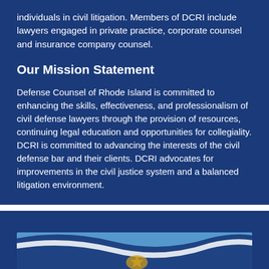individuals in civil litigation. Members of DCRI include lawyers engaged in private practice, corporate counsel and insurance company counsel.
Our Mission Statement
Defense Counsel of Rhode Island is committed to enhancing the skills, effectiveness, and professionalism of civil defense lawyers through the provision of resources, continuing legal education and opportunities for collegiality. DCRI is committed to advancing the interests of the civil defense bar and their clients. DCRI advocates for improvements in the civil justice system and a balanced litigation environment.
[Figure (photo): A Rhode Island state flag waving, showing blue background with a golden anchor and stars, partially visible at bottom of page.]